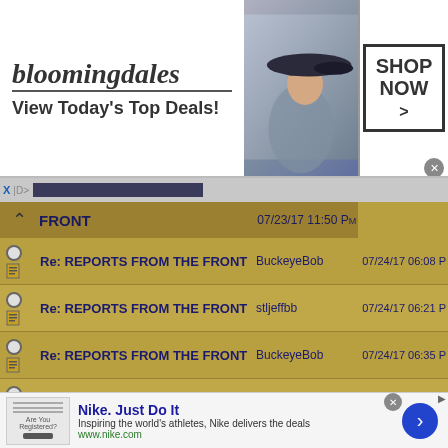[Figure (screenshot): Bloomingdales advertisement banner: 'bloomingdales / View Today's Top Deals!' with woman in hat and SHOP NOW > button]
[Figure (screenshot): Forum thread list with header 'FRONT' dated 07/23/17 11:50 PM, showing 5 reply posts titled 'Re: REPORTS FROM THE FRONT' by BuckyeBob, stljeffbb, BuckeyeBob, stljeffbb, JJJ65 with dates, and one partial row by Adger]
[Figure (screenshot): Nike advertisement: 'Nike. Just Do It' - Inspiring the world's athletes, Nike delivers the deals. www.nike.com]